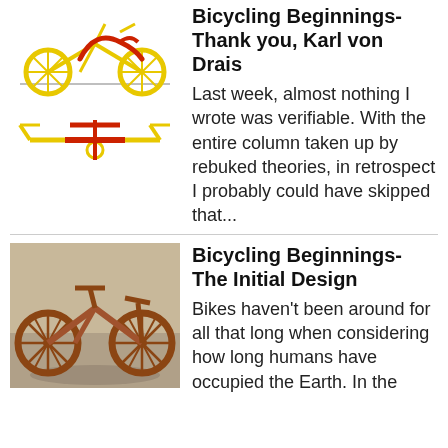[Figure (illustration): Two yellow cartoon bicycle illustrations stacked vertically - top view shows full bike with wheels, bottom shows side view of bike frame]
Bicycling Beginnings- Thank you, Karl von Drais
Last week, almost nothing I wrote was verifiable. With the entire column taken up by rebuked theories, in retrospect I probably could have skipped that...
[Figure (photo): Photo of a wooden early bicycle model (draisine) with orange/brown wooden wheels and frame, displayed on a gray background]
Bicycling Beginnings- The Initial Design
Bikes haven't been around for all that long when considering how long humans have occupied the Earth. In the